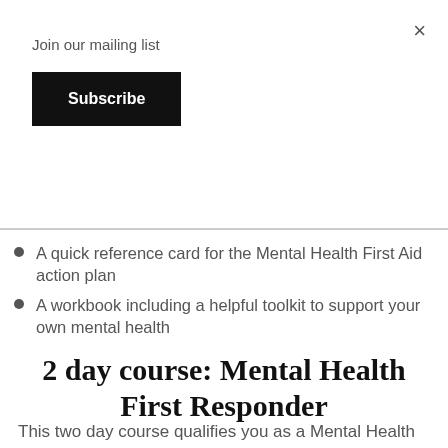×
Join our mailing list
Subscribe
A quick reference card for the Mental Health First Aid action plan
A workbook including a helpful toolkit to support your own mental health
2 day course: Mental Health First Responder
This two day course qualifies you as a Mental Health First Aider, giving you: